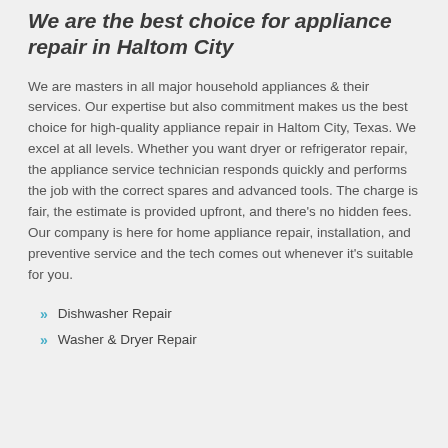We are the best choice for appliance repair in Haltom City
We are masters in all major household appliances & their services. Our expertise but also commitment makes us the best choice for high-quality appliance repair in Haltom City, Texas. We excel at all levels. Whether you want dryer or refrigerator repair, the appliance service technician responds quickly and performs the job with the correct spares and advanced tools. The charge is fair, the estimate is provided upfront, and there's no hidden fees. Our company is here for home appliance repair, installation, and preventive service and the tech comes out whenever it's suitable for you.
Dishwasher Repair
Washer & Dryer Repair